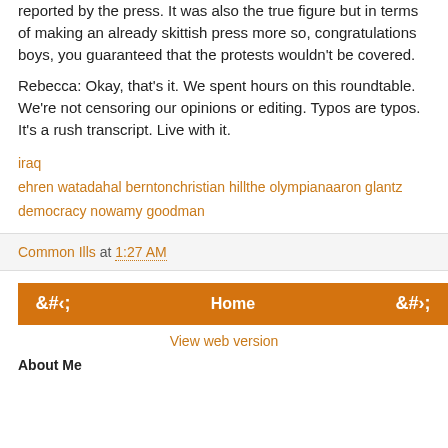reported by the press. It was also the true figure but in terms of making an already skittish press more so, congratulations boys, you guaranteed that the protests wouldn't be covered.
Rebecca: Okay, that's it. We spent hours on this roundtable. We're not censoring our opinions or editing. Typos are typos. It's a rush transcript. Live with it.
iraq
ehren watadahal berntonchristian hillthe olympianaaron glantz
democracy nowamy goodman
Common Ills at 1:27 AM
Home
View web version
About Me